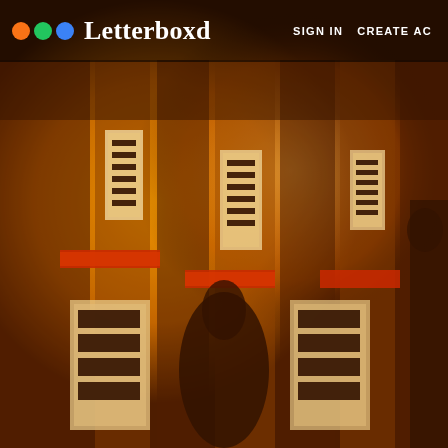[Figure (photo): Dark atmospheric background image showing Chinese-language posters and banners covering walls, illuminated in warm orange/amber tones with a shadowy figure visible. The scene appears to be from an Asian film still or promotional image.]
Letterboxd   SIGN IN   CREATE AC